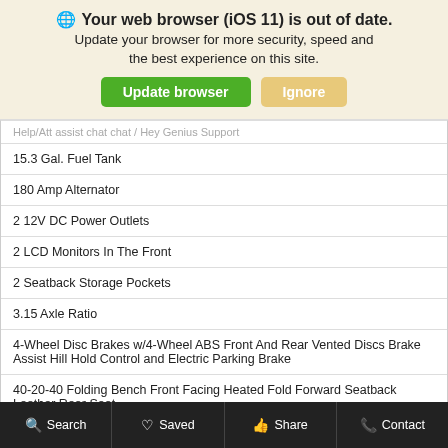[Figure (screenshot): Browser update notification banner with globe icon, text 'Your web browser (iOS 11) is out of date. Update your browser for more security, speed and the best experience on this site.' with green 'Update browser' and tan 'Ignore' buttons.]
| 15.3 Gal. Fuel Tank |
| 180 Amp Alternator |
| 2 12V DC Power Outlets |
| 2 LCD Monitors In The Front |
| 2 Seatback Storage Pockets |
| 3.15 Axle Ratio |
| 4-Wheel Disc Brakes w/4-Wheel ABS Front And Rear Vented Discs Brake Assist Hill Hold Control and Electric Parking Brake |
| 40-20-40 Folding Bench Front Facing Heated Fold Forward Seatback Leather Rear Seat |
| 50 State Emissions |
| 8 Speakers |
Search   Saved   Share   Contact